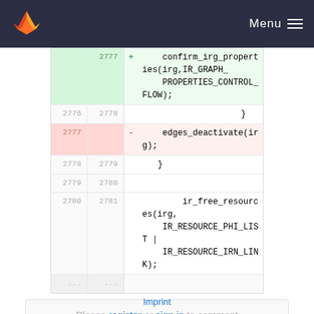GitLab Menu
[Figure (screenshot): Code diff view showing lines 2776-2781 with an added confirm_irg_properties call (green) and removed edges_deactivate call (red), plus context lines with ir_free_resources]
Please register or sign in to comment
Imprint